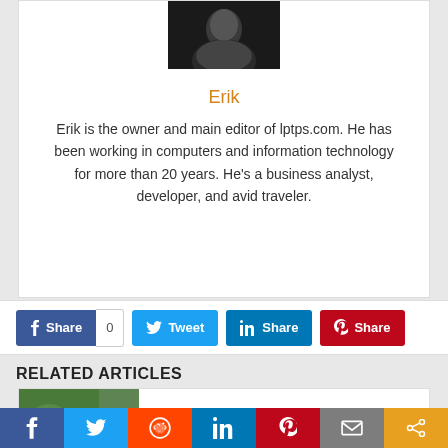[Figure (photo): Partial photo of Erik, dark background, person visible from shoulders up]
Erik
Erik is the owner and main editor of lptps.com. He has been working in computers and information technology for more than 20 years. He’s a business analyst, developer, and avid traveler.
[Figure (infographic): Social share buttons: Facebook Share with count 0, Tweet, LinkedIn Share, Pinterest Share]
RELATED ARTICLES
[Figure (photo): Partial image showing green foliage/plants, bottom portion of related article card]
[Figure (infographic): Bottom social bar with icons: Facebook, Twitter, Reddit, LinkedIn, Pinterest, Email, Share]